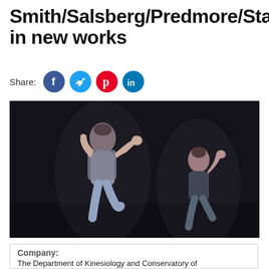Smith/Salsberg/Predmore/Stanf… in new works
Share:
[Figure (photo): Two female dancers performing on a dark stage, mid-movement with raised arms and bent knees, wearing casual clothing.]
Company:
The Department of Kinesiology and Conservatory of